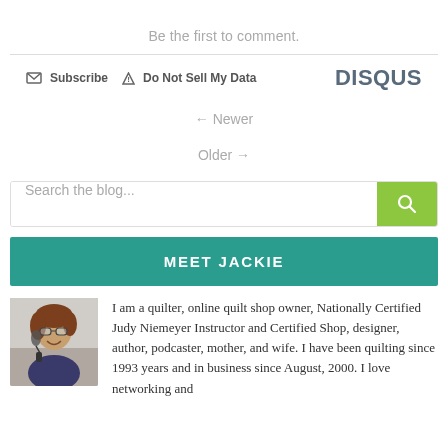Be the first to comment.
Subscribe  Do Not Sell My Data  DISQUS
← Newer
Older →
Search the blog...
MEET JACKIE
[Figure (photo): Photo of Jackie wearing headset with microphone, smiling at camera]
I am a quilter, online quilt shop owner, Nationally Certified Judy Niemeyer Instructor and Certified Shop, designer, author, podcaster, mother, and wife. I have been quilting since 1993 years and in business since August, 2000. I love networking and